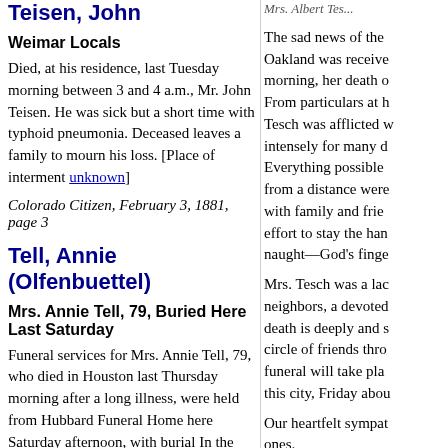Teisen, John
Weimar Locals
Died, at his residence, last Tuesday morning between 3 and 4 a.m., Mr. John Teisen. He was sick but a short time with typhoid pneumonia. Deceased leaves a family to mourn his loss. [Place of interment unknown]
Colorado Citizen, February 3, 1881, page 3
Tell, Annie (Olfenbuettel)
Mrs. Annie Tell, 79, Buried Here Last Saturday
Funeral services for Mrs. Annie Tell, 79, who died in Houston last Thursday morning after a long illness, were held from Hubbard Funeral Home here Saturday afternoon, with burial In the Masonic [Odd Fellows] Cemetery.
Rev. C. Emigholz officiated.
Mrs. Tell had lived In Weimar nearly all her life. Born January 18, 1873, in New Braunfels, the daughter of Fritz and Karoline Fiedler Olfenbuettel
The sad news of the... Oakland was receive... morning, her death c... From particulars at h... Tesch was afflicted w... intensely for many d... Everything possible... from a distance were... with family and frie... effort to stay the han... naught—God's finge...
Mrs. Tesch was a la... neighbors, a devote... death is deeply and s... circle of friends thro... funeral will take pla... this city, Friday abou...
Our heartfelt sympat... ones.
The Weimar Mercury, Transcribed by Sandra...
Mrs. Albert Tesc...